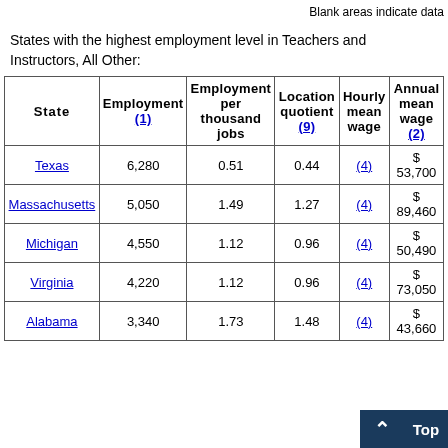Blank areas indicate data
States with the highest employment level in Teachers and Instructors, All Other:
| State | Employment (1) | Employment per thousand jobs | Location quotient (9) | Hourly mean wage | Annual mean wage (2) |
| --- | --- | --- | --- | --- | --- |
| Texas | 6,280 | 0.51 | 0.44 | (4) | $ 53,700 |
| Massachusetts | 5,050 | 1.49 | 1.27 | (4) | $ 89,460 |
| Michigan | 4,550 | 1.12 | 0.96 | (4) | $ 50,490 |
| Virginia | 4,220 | 1.12 | 0.96 | (4) | $ 73,050 |
| Alabama | 3,340 | 1.73 | 1.48 | (4) | $ 43,660 |